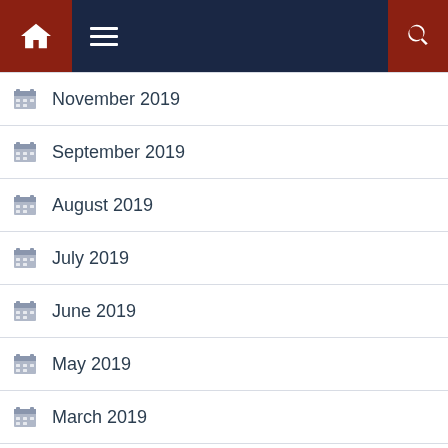Navigation bar with home icon, menu icon, and search icon
November 2019
September 2019
August 2019
July 2019
June 2019
May 2019
March 2019
February 2019
January 2019